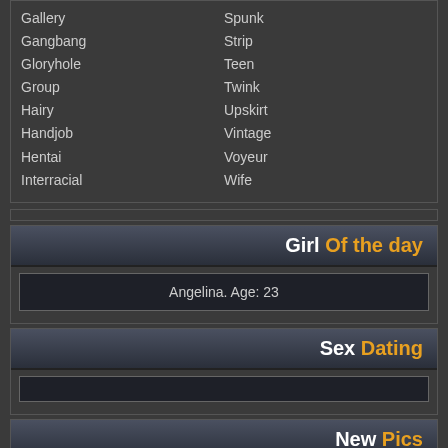Gallery | Spunk
Gangbang | Strip
Gloryhole | Teen
Group | Twink
Hairy | Upskirt
Handjob | Vintage
Hentai | Voyeur
Interracial | Wife
Girl Of the day
Angelina. Age: 23
Sex Dating
New Pics
Creampie outdoor bgg upskirt
Pee tgirl girlfriend pussy eating
Pinupfiles pounded trans gaysex
Miniskirt tgirl schoolgirl girlfriend
Glamour torture pussy eating missionary
Exhibitionist massage shemale dyke